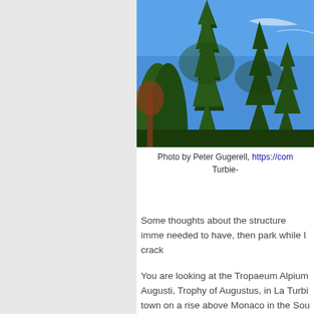[Figure (photo): Photograph of tall conifer trees against a bright blue sky with light wispy clouds, taken outdoors.]
Photo by Peter Gugerell, https://com... Turbie-...
Some thoughts about the structure imme... needed to have, then park while I crack...
You are looking at the Tropaeum Alpium Augusti, Trophy of Augustus, in La Turbi... town on a rise above Monaco in the Sou... call it, this monument is certainly concer... emperor Augustus. What interests me al... concerned, albeit more obliquely, with th...